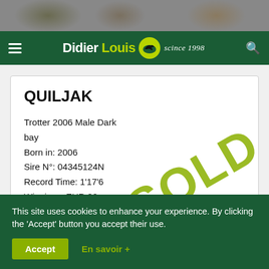[Figure (photo): Racing horses photo strip at the top of the page]
Didier Louis since 1998 — navigation bar with hamburger menu and search icon
QUILJAK
Trotter 2006 Male Dark bay
Born in: 2006
Sire N°: 04345124N
Record Time: 1'17'6
Winnings: EUR 32 700.00
Father:
1'14'9 b
Mother
SOLD
This site uses cookies to enhance your experience. By clicking the 'Accept' button you accept their use.